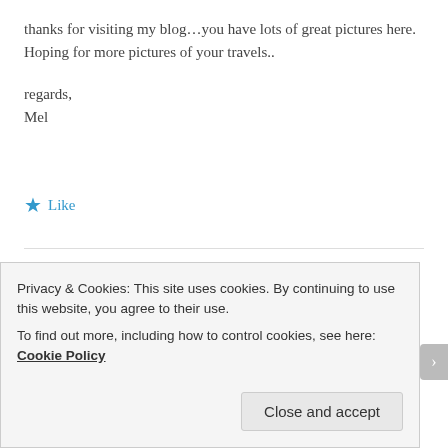thanks for visiting my blog…you have lots of great pictures here. Hoping for more pictures of your travels..
regards,
Mel
★ Like
alltheseplacesfeellikehome
July 28, 2012 at 12:18 am  Reply
Privacy & Cookies: This site uses cookies. By continuing to use this website, you agree to their use.
To find out more, including how to control cookies, see here: Cookie Policy
Close and accept